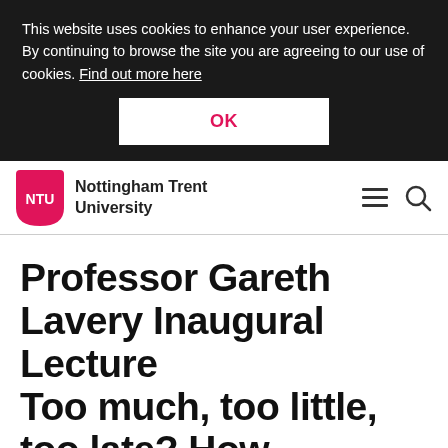This website uses cookies to enhance your user experience. By continuing to browse the site you are agreeing to our use of cookies. Find out more here
OK
[Figure (logo): Nottingham Trent University shield logo with NTU text in white on pink/magenta background]
Nottingham Trent University
Professor Gareth Lavery Inaugural Lecture
Too much, too little, too late? How